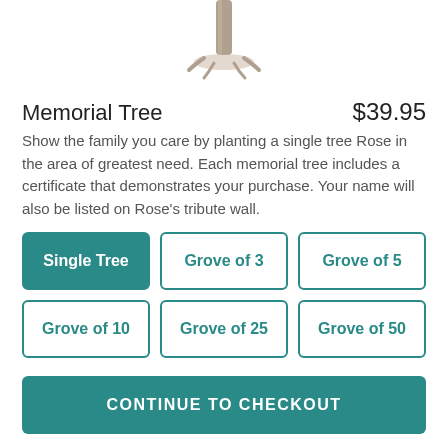[Figure (illustration): Pencil sketch illustration of the bottom trunk and base of a tree, cropped at the top, showing roots spreading at ground level.]
Memorial Tree
$39.95
Show the family you care by planting a single tree Rose in the area of greatest need. Each memorial tree includes a certificate that demonstrates your purchase. Your name will also be listed on Rose's tribute wall.
Single Tree
Grove of 3
Grove of 5
Grove of 10
Grove of 25
Grove of 50
CONTINUE TO CHECKOUT